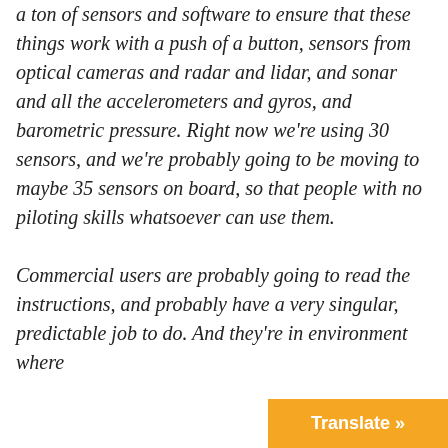a ton of sensors and software to ensure that these things work with a push of a button, sensors from optical cameras and radar and lidar, and sonar and all the accelerometers and gyros, and barometric pressure. Right now we're using 30 sensors, and we're probably going to be moving to maybe 35 sensors on board, so that people with no piloting skills whatsoever can use them.

Commercial users are probably going to read the instructions, and probably have a very singular, predictable job to do. And they're in environment where